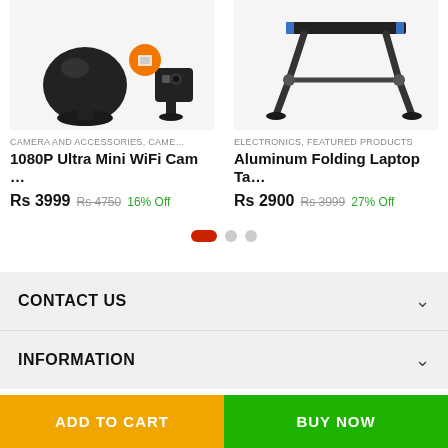[Figure (photo): 1080P Ultra Mini WiFi Camera product image showing black globe-shaped camera on stand with smaller camera]
CAMERA AND ACCESSORIES, CAME…
1080P Ultra Mini WiFi Cam …
Rs 3999  Rs 4750  16% Off
[Figure (photo): Aluminum Folding Laptop Table product image showing adjustable black metal laptop stand]
ELECTRONICS, FEATURED PRODUCTS
Aluminum Folding Laptop Ta…
Rs 2900  Rs 3999  27% Off
CONTACT US
INFORMATION
ADD TO CART
BUY NOW